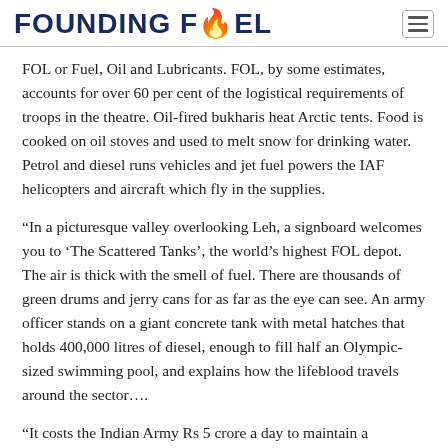FOUNDING FUEL
FOL or Fuel, Oil and Lubricants. FOL, by some estimates, accounts for over 60 per cent of the logistical requirements of troops in the theatre. Oil-fired bukharis heat Arctic tents. Food is cooked on oil stoves and used to melt snow for drinking water. Petrol and diesel runs vehicles and jet fuel powers the IAF helicopters and aircraft which fly in the supplies.
“In a picturesque valley overlooking Leh, a signboard welcomes you to ‘The Scattered Tanks’, the world’s highest FOL depot. The air is thick with the smell of fuel. There are thousands of green drums and jerry cans for as far as the eye can see. An army officer stands on a giant concrete tank with metal hatches that holds 400,000 litres of diesel, enough to fill half an Olympic-sized swimming pool, and explains how the lifeblood travels around the sector….
“It costs the Indian Army Rs 5 crore a day to maintain a